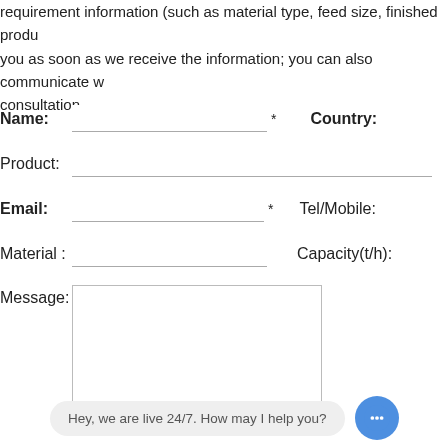requirement information (such as material type, feed size, finished produ... you as soon as we receive the information; you can also communicate w... consultation.
Name: [input] * Country:
Product: [input]
Email: [input] * Tel/Mobile:
Material: [input] Capacity(t/h):
Message: [textarea]
Hey, we are live 24/7. How may I help you?